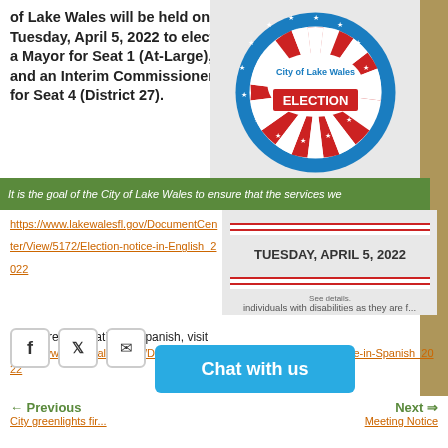of Lake Wales will be held on Tuesday, April 5, 2022 to elect a Mayor for Seat 1 (At-Large), and an Interim Commissioner for Seat 4 (District 27).
[Figure (illustration): City of Lake Wales Election seal — circular blue border with stars, red and white sunburst pattern, text 'City of Lake Wales ELECTION']
It is the goal of the City of Lake Wales to ensure that the services we
https://www.lakewalesfl.gov/DocumentCenter/View/5172/Election-notice-in-English_2022
[Figure (illustration): Banner image with red and white stripes and text 'TUESDAY, APRIL 5, 2022']
For more information in Spanish, visit
https://www.lakewalesfl.gov/DocumentCenter/View/5171/Election-notice-in-Spanish_2022
[Figure (illustration): Social media share icons: Facebook, Twitter, Email]
[Figure (illustration): Chat with us button]
← Previous
City greenlights fir...
Next ⇒
Meeting Notice